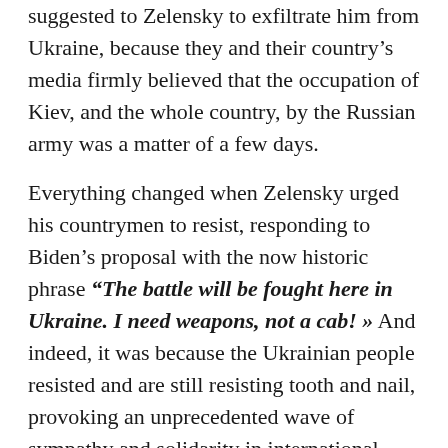suggested to Zelensky to exfiltrate him from Ukraine, because they and their country's media firmly believed that the occupation of Kiev, and the whole country, by the Russian army was a matter of a few days.

Everything changed when Zelensky urged his countrymen to resist, responding to Biden's proposal with the now historic phrase "The battle will be fought here in Ukraine. I need weapons, not a cab! » And indeed, it was because the Ukrainian people resisted and are still resisting tooth and nail, provoking an unprecedented wave of sympathy and solidarity in international public opinion, that they in fact forced Western governments to do something that was not in their agenda and was radically different from the passivity they showed when Putin occupied and annexed Crimea in 2014: Supporting Ukraine's war effort and imposing increasingly harsh economic sanctions on Putin's Russia and its oligarchs